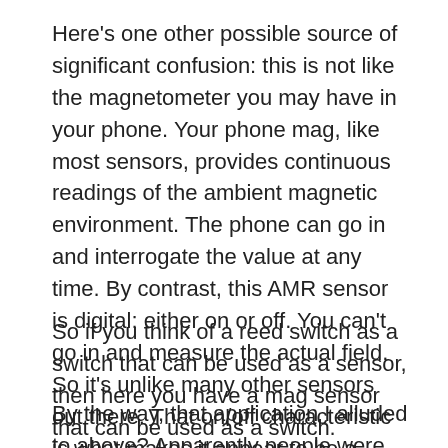Here's one other possible source of significant confusion: this is not like the magnetometer you may have in your phone. Your phone mag, like most sensors, provides continuous readings of the ambient magnetic environment. The phone can go in and interrogate the value at any time. By contrast, this AMR sensor is digital: either on or off. You can't go in and measure the actual field. So it's unlike many other sensors out there. That on/off characteristic is what makes it appear to be a switch – and contributes to the sensor/switch confusion.
So if you think of a reed switch as a switch that can be used as a sensor, then here you have a mag sensor that can be used as a switch.
By the way, that application I alluded to above? Apparently people were trying to monkey with